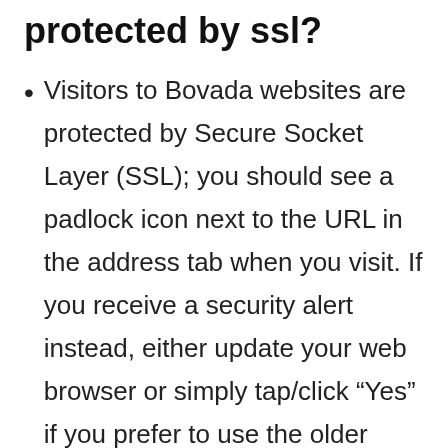protected by ssl?
Visitors to Bovada websites are protected by Secure Socket Layer (SSL); you should see a padlock icon next to the URL in the address tab when you visit. If you receive a security alert instead, either update your web browser or simply tap/click “Yes” if you prefer to use the older version.
9 other answers